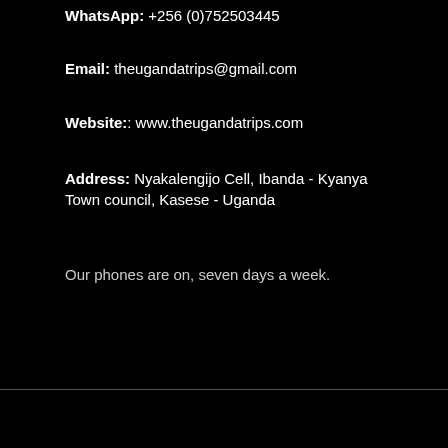WhatsApp: +256 (0)752503445
Email: theugandatrips@gmail.com
Website:: www.theugandatrips.com
Address: Nyakalengijo Cell, Ibanda - Kyanya Town council, Kasese - Uganda
Our phones are on, seven days a week.